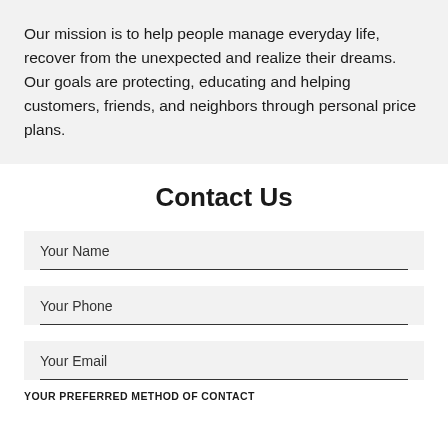Our mission is to help people manage everyday life, recover from the unexpected and realize their dreams. Our goals are protecting, educating and helping customers, friends, and neighbors through personal price plans.
Contact Us
Your Name
Your Phone
Your Email
YOUR PREFERRED METHOD OF CONTACT